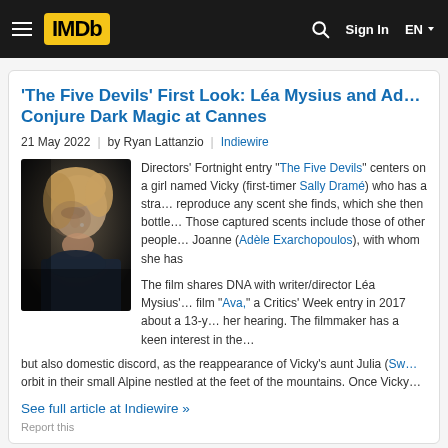IMDb — Sign In EN
'The Five Devils' First Look: Léa Mysius and Adèle Exarchopoulos Conjure Dark Magic at Cannes
21 May 2022 | by Ryan Lattanzio | Indiewire
[Figure (photo): A person (Sally Dramé) looking downward, dark moody lighting, cinematic still from The Five Devils]
Directors' Fortnight entry "The Five Devils" centers on a girl named Vicky (first-timer Sally Dramé) who has a strange ability to reproduce any scent she finds, which she then bottles and stores. Those captured scents include those of other people, including her mother Joanne (Adèle Exarchopoulos), with whom she has…
The film shares DNA with writer/director Léa Mysius's debut film "Ava," a Critics' Week entry in 2017 about a 13-year-old losing her hearing. The filmmaker has a keen interest in the senses, but also domestic discord, as the reappearance of Vicky's aunt Julia (Sw… orbit in their small Alpine nestled at the feet of the mountains. Once Vicky…
See full article at Indiewire »
Report this